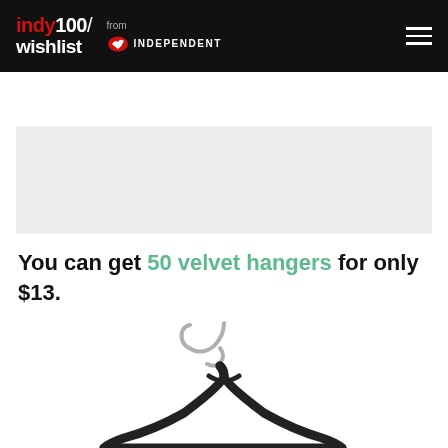indy100/ wishlist from INDEPENDENT
[Figure (other): Grey advertisement banner placeholder]
You can get 50 velvet hangers for only $13.
[Figure (photo): Black velvet clothes hanger with silver metal hook, photographed on white background]